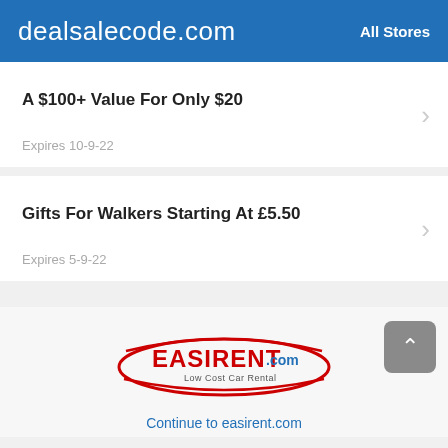dealsalecode.com   All Stores
A $100+ Value For Only $20
Expires 10-9-22
Gifts For Walkers Starting At £5.50
Expires 5-9-22
[Figure (logo): Easirent.com Low Cost Car Rental logo]
Continue to easirent.com